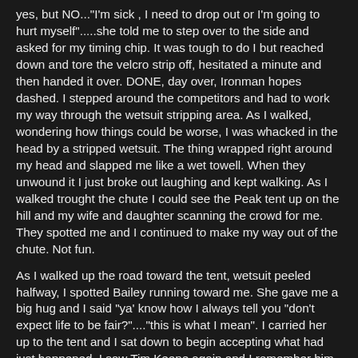yes, but NO..."I'm sick , I need to drop out or I'm going to hurt myself".....she told me to step over to the side and asked for my timing chip. It was tough to do I but reached down and tore the velcro strip off, hesitated a minute and then handed it over. DONE, day over, Ironman hopes dashed. I stepped around the competitors and had to work my way through the wetsuit stripping area. As I walked, wondering how things could be worse, I was whacked in the head by a stripped wetsuit. The thing wrapped right around my head and slapped me like a wet towell. When they unwound it I just broke out laughing and kept walking. As I walked trought the chute I could see the Peak tent up on the hill and my wife and daughter scanning the crowd for me. They spotted me and I continued to make my way out of the chute. Not fun.
As I walked up the road toward the tent, wetsuit peeled halfway, I spotted Bailey running toward me. She gave me a big hug and I said "ya' know how I always tell you "don't expect life to be fair?"....."this is what I mean". I carried her up to the tent and I sat down to begin accepting what had just happened. I saw Tim Keene again and I remember him